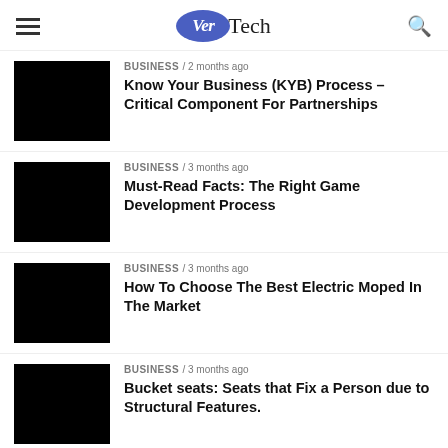VerTech
BUSINESS / 2 months ago — Know Your Business (KYB) Process – Critical Component For Partnerships
BUSINESS / 3 months ago — Must-Read Facts: The Right Game Development Process
BUSINESS / 3 months ago — How To Choose The Best Electric Moped In The Market
BUSINESS / 3 months ago — Bucket seats: Seats that Fix a Person due to Structural Features.
BUSINESS / 3 months ago — (partial)